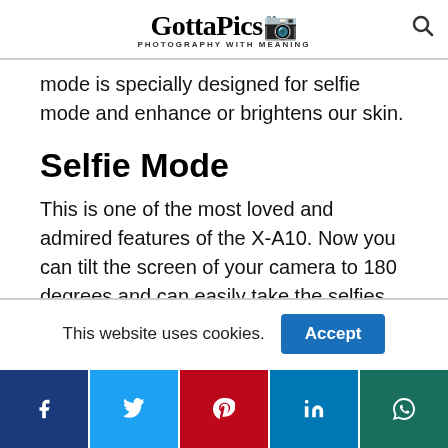GottaPics - PHOTOGRAPHY WITH MEANING
mode is specially designed for selfie mode and enhance or brightens our skin.
Selfie Mode
This is one of the most loved and admired features of the X-A10. Now you can tilt the screen of your camera to 180 degrees and can easily take the selfies. This is the reason that sometimes it is called the Selfie-ready camera. The Portrait
This website uses cookies.
Social share bar: Facebook, Twitter, Pinterest, LinkedIn, WhatsApp